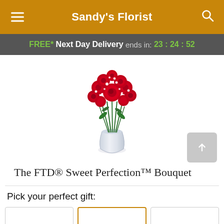Sandy's Florist
FREE* Next Day Delivery ends in: 23:24:52
[Figure (photo): Red rose bouquet with baby's breath in a glass vase - The FTD Sweet Perfection Bouquet]
The FTD® Sweet Perfection™ Bouquet
Pick your perfect gift: